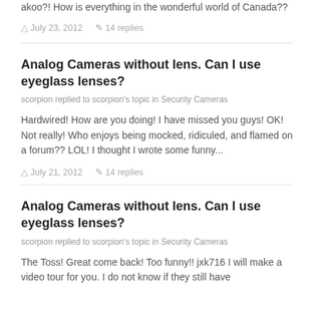akoo?! How is everything in the wonderful world of Canada??
July 23, 2012   14 replies
Analog Cameras without lens. Can I use eyeglass lenses?
scorpion replied to scorpion's topic in Security Cameras
Hardwired! How are you doing! I have missed you guys! OK! Not really! Who enjoys being mocked, ridiculed, and flamed on a forum?? LOL! I thought I wrote some funny...
July 21, 2012   14 replies
Analog Cameras without lens. Can I use eyeglass lenses?
scorpion replied to scorpion's topic in Security Cameras
The Toss! Great come back! Too funny!! jxk716 I will make a video tour for you. I do not know if they still have